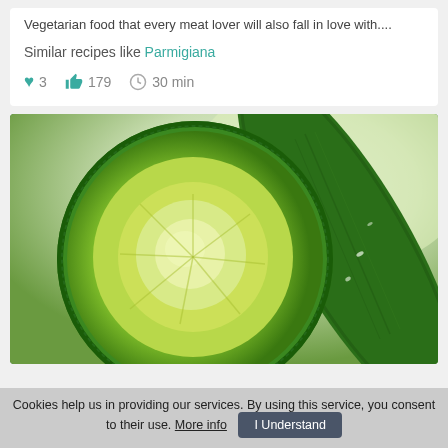Vegetarian food that every meat lover will also fall in love with....
Similar recipes like Parmigiana
♥ 3   👍 179   🕐 30 min
[Figure (photo): Close-up photo of sliced zucchini/cucumber showing cross-section cut face and side pieces, vivid green color]
Cookies help us in providing our services. By using this service, you consent to their use. More info  I Understand